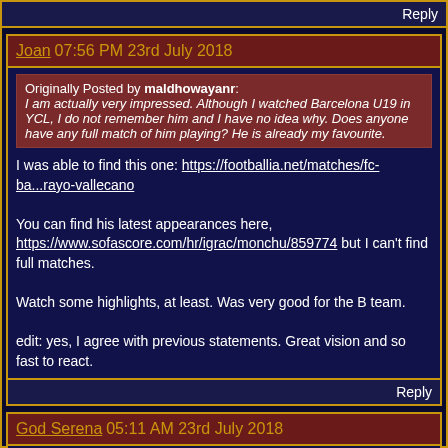Reply
Joan 07:56 PM 23rd July 2018
Originally Posted by maldhowayanr: I am actually very impressed. Although I watched Barcelona U19 in YCL, I do not remember him and I have no idea why. Does anyone have any full match of him playing? He is already my favourite.
I was able to find this one: https://footballia.net/matches/fc-ba...rayo-vallecano

You can find his latest appearances here, https://www.sofascore.com/hr/igrac/monchu/859774 but I can't find full matches.

Watch some highlights, at least. Was very good for the B team.

edit: yes, I agree with previous statements. Great vision and so fast to react.
Reply
God Serena 05:11 AM 23rd July 2018
He's promising and has definitely flown under the radar. I'm just waiting to see how he does with Barca B. It's gonna be tough to fill the gap Alena is leaving.
Reply